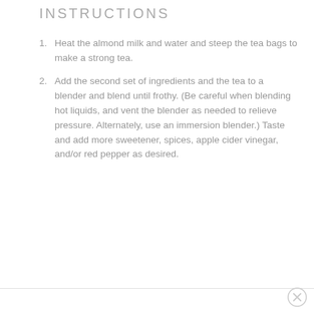INSTRUCTIONS
Heat the almond milk and water and steep the tea bags to make a strong tea.
Add the second set of ingredients and the tea to a blender and blend until frothy. (Be careful when blending hot liquids, and vent the blender as needed to relieve pressure. Alternately, use an immersion blender.) Taste and add more sweetener, spices, apple cider vinegar, and/or red pepper as desired.